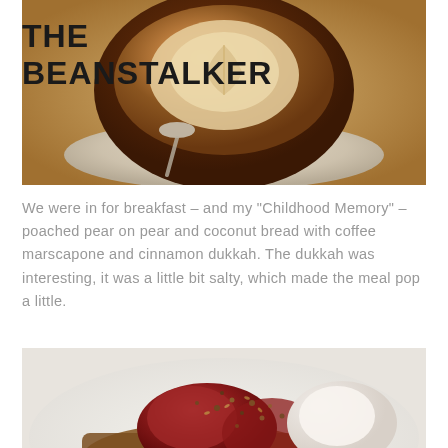[Figure (photo): Overhead view of a coffee cup with latte art on a wooden table, with a spoon visible, warm brown tones]
THE BEANSTALKER
We were in for breakfast – and my "Childhood Memory" – poached pear on pear and coconut bread with coffee marscapone and cinnamon dukkah. The dukkah was interesting, it was a little bit salty, which made the meal pop a little.
[Figure (photo): Close-up of poached pear on bread topped with cinnamon dukkah and mascarpone cream, served on a white plate]